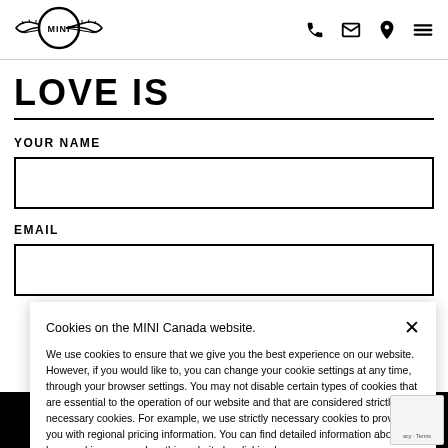[Figure (logo): MINI logo with wings in circle]
LOVE IS
YOUR NAME
EMAIL
Cookies on the MINI Canada website.

We use cookies to ensure that we give you the best experience on our website. However, if you would like to, you can change your cookie settings at any time, through your browser settings. You may not disable certain types of cookies that are essential to the operation of our website and that are considered strictly necessary cookies. For example, we use strictly necessary cookies to provide you with regional pricing information. You can find detailed information about how cookies are used on this website by clicking here.